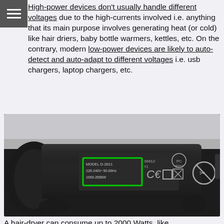High-power devices don't usually handle different voltages due to the high-currents involved i.e. anything that its main purpose involves generating heat (or cold) like hair driers, baby bottle warmers, kettles, etc. On the contrary, modern low-power devices are likely to auto-detect and auto-adapt to different voltages i.e. usb chargers, laptop chargers, etc.
[Figure (photo): Close-up photo of the underside of a hair dryer showing a label reading MODEL D-2011 220-240V~50-60Hz 1650-2000W, highlighted with a green rectangle. Regulatory symbols including CE marking, PC, B202, and a no symbol are also visible.]
A hair-dryer can consume up to 2000 Watts, like the one in the picture, as shown by the label.